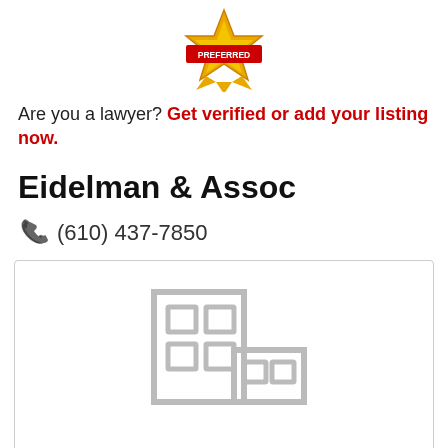[Figure (logo): Gold star badge with red 'PREFERRED' ribbon in the center]
Are you a lawyer? Get verified or add your listing now.
Eidelman & Assoc
(610) 437-7850
[Figure (illustration): Gray placeholder building/office icon on white background inside a bordered box]